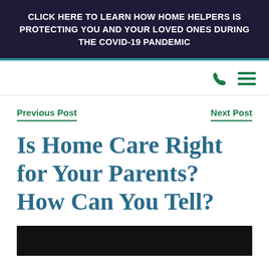CLICK HERE TO LEARN HOW HOME HELPERS IS PROTECTING YOU AND YOUR LOVED ONES DURING THE COVID-19 PANDEMIC
Previous Post
Next Post
Is Home Care Right for Your Parents? How Can You Tell?
[Figure (photo): Dark image placeholder at the bottom of the page]